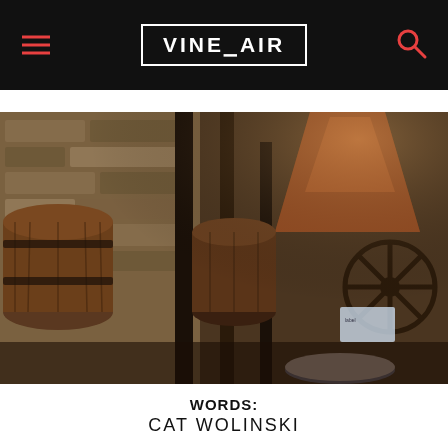VINEPAIR
[Figure (photo): Interior of a distillery or winery with wooden barrels, large wooden mortar, copper still, stone walls, and vintage industrial equipment including a large metal valve wheel]
WORDS:
CAT WOLINSKI